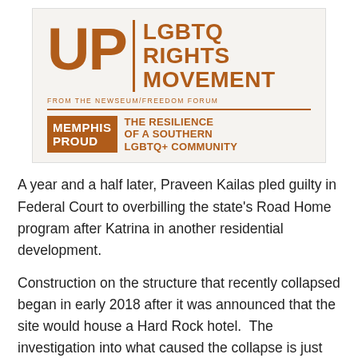[Figure (logo): UP LGBTQ Rights Movement logo from the Newseum/Freedom Forum, with Memphis Proud: The Resilience of a Southern LGBTQ+ Community subtitle.]
A year and a half later, Praveen Kailas pled guilty in Federal Court to overbilling the state’s Road Home program after Katrina in another residential development.
Construction on the structure that recently collapsed began in early 2018 after it was announced that the site would house a Hard Rock hotel.  The investigation into what caused the collapse is just getting underway.
NOLA.com reports that the General Contractor, Metairie-